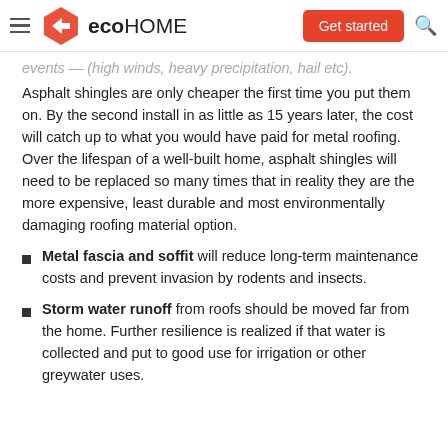ecohome — Get started
events — (high winds, heavy precipitation, hail etc). Asphalt shingles are only cheaper the first time you put them on. By the second install in as little as 15 years later, the cost will catch up to what you would have paid for metal roofing. Over the lifespan of a well-built home, asphalt shingles will need to be replaced so many times that in reality they are the more expensive, least durable and most environmentally damaging roofing material option.
Metal fascia and soffit will reduce long-term maintenance costs and prevent invasion by rodents and insects.
Storm water runoff from roofs should be moved far from the home. Further resilience is realized if that water is collected and put to good use for irrigation or other greywater uses.